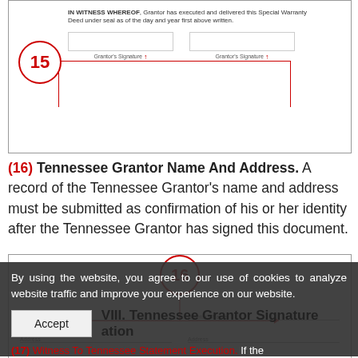[Figure (other): Document snippet showing 'IN WITNESS WHEREOF' clause with two Grantor's Signature fields, annotated with red circle numbered 15 and red lines pointing to signature fields]
(16) Tennessee Grantor Name And Address. A record of the Tennessee Grantor's name and address must be submitted as confirmation of his or her identity after the Tennessee Grantor has signed this document.
[Figure (other): Document snippet showing Grantor's Name and address fields, annotated with red circle numbered 16 with horizontal arrows pointing to name fields]
By using the website, you agree to our use of cookies to analyze website traffic and improve your experience on our website.
VIII. Tennessee Grantor Signature
ation
(17) Witness To Tennessee Statement Execution. If the